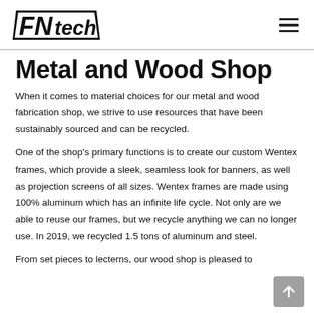FNtech [logo] with hamburger menu
Metal and Wood Shop
When it comes to material choices for our metal and wood fabrication shop, we strive to use resources that have been sustainably sourced and can be recycled.
One of the shop's primary functions is to create our custom Wentex frames, which provide a sleek, seamless look for banners, as well as projection screens of all sizes. Wentex frames are made using 100% aluminum which has an infinite life cycle. Not only are we able to reuse our frames, but we recycle anything we can no longer use. In 2019, we recycled 1.5 tons of aluminum and steel.
From set pieces to lecterns, our wood shop is pleased to